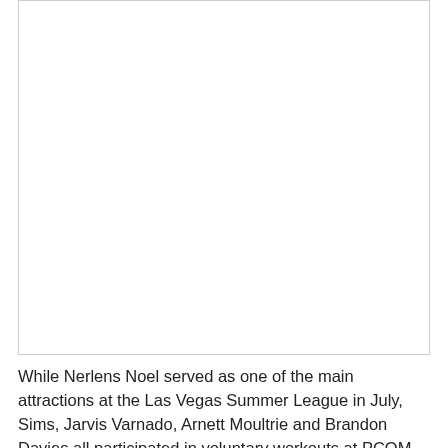[Figure (photo): Large photo placeholder, appears blank/white with border]
While Nerlens Noel served as one of the main attractions at the Las Vegas Summer League in July, Sims, Jarvis Varnado, Arnett Moultrie and Brandon Davies all participated in voluntary workouts at PCOM.